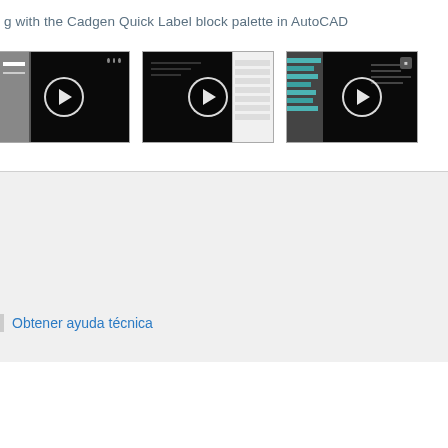g with the Cadgen Quick Label block palette in AutoCAD
[Figure (screenshot): Three video thumbnails showing AutoCAD interface with play buttons. First shows dark AutoCAD canvas with gray sidebar. Second shows dark canvas with white panel on right side. Third shows dark canvas with teal/blue highlighted rows on left panel.]
Obtener ayuda técnica